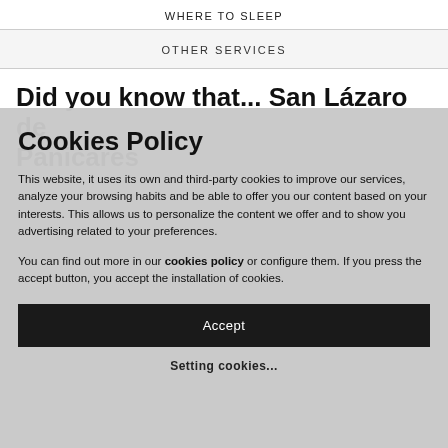WHERE TO SLEEP
OTHER SERVICES
Did you know that... San Lázaro de Panicares
Cookies Policy
This website, it uses its own and third-party cookies to improve our services, analyze your browsing habits and be able to offer you our content based on your interests. This allows us to personalize the content we offer and to show you advertising related to your preferences.
You can find out more in our cookies policy or configure them. If you press the accept button, you accept the installation of cookies.
Accept
Setting cookies...